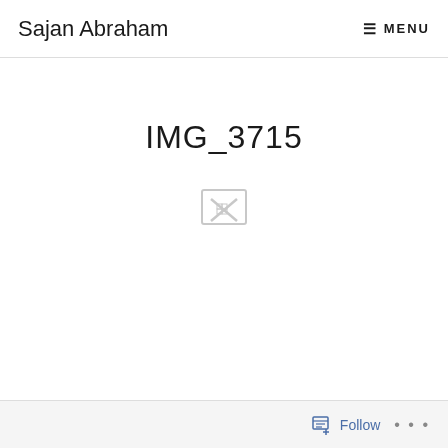Sajan Abraham   ≡ MENU
IMG_3715
[Figure (other): Broken/missing image placeholder icon — an X shape in light gray]
Follow ...